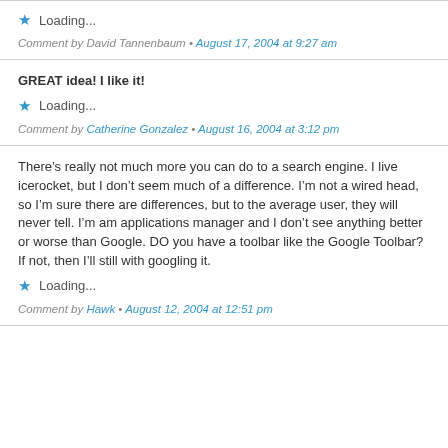Loading...
Comment by David Tannenbaum - August 17, 2004 at 9:27 am
GREAT idea! I like it!
Loading...
Comment by Catherine Gonzalez - August 16, 2004 at 3:12 pm
There’s really not much more you can do to a search engine. I live icerocket, but I don’t seem much of a difference. I’m not a wired head, so I’m sure there are differences, but to the average user, they will never tell. I’m am applications manager and I don’t see anything better or worse than Google. DO you have a toolbar like the Google Toolbar? If not, then I’ll still with googling it.
Loading...
Comment by Hawk - August 12, 2004 at 12:51 pm